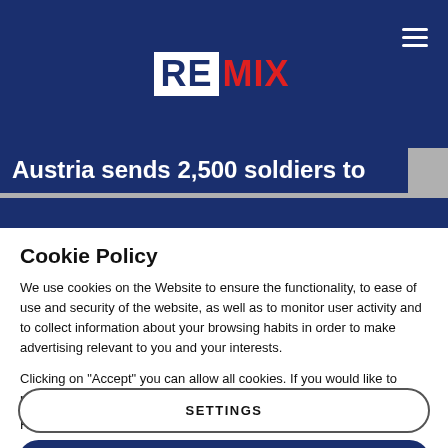[Figure (logo): REMIX logo: white box with dark blue 'RE' text followed by red 'MIX' text on a dark blue header bar]
Austria sends 2,500 soldiers to
Cookie Policy
We use cookies on the Website to ensure the functionality, to ease of use and security of the website, as well as to monitor user activity and to collect information about your browsing habits in order to make advertising relevant to you and your interests.
Clicking on "Accept" you can allow all cookies. If you would like to reject or customize, please click on "Settings".
Read more: Cookie Policy